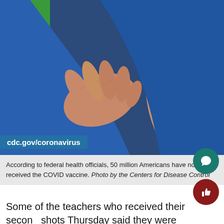[Figure (photo): Close-up photo of a person's upper arm with a bandage after receiving a vaccine injection, wearing a blue shirt, with cdc.gov/coronavirus label overlaid at bottom left]
According to federal health officials, 50 million Americans have now received the COVID vaccine. Photo by the Centers for Disease Control
Some of the teachers who received their second shots Thursday said they were pleased with the efficiency of the process.